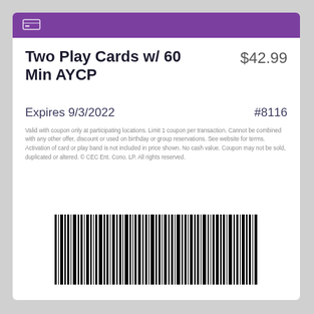[Figure (illustration): Purple header bar with a ticket/coupon icon on the left]
Two Play Cards w/ 60 Min AYCP   $42.99
Expires 9/3/2022   #8116
Valid with coupon only at participating locations. Limit 1 coupon per transaction. Cannot be combined with any other offer, discount or used on birthday or group reservations. See website for terms. Activation of card or play band is not included in price shown. No cash value. Coupon may not be sold, duplicated or altered. © CEC Ent. Cono. LP. All rights reserved.
[Figure (other): Barcode for the coupon]